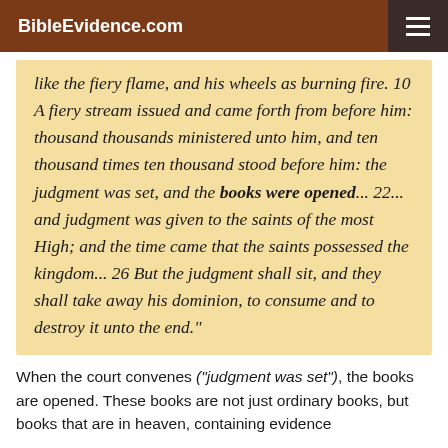BibleEvidence.com
like the fiery flame, and his wheels as burning fire. 10 A fiery stream issued and came forth from before him: thousand thousands ministered unto him, and ten thousand times ten thousand stood before him: the judgment was set, and the books were opened... 22... and judgment was given to the saints of the most High; and the time came that the saints possessed the kingdom... 26 But the judgment shall sit, and they shall take away his dominion, to consume and to destroy it unto the end."
When the court convenes ("judgment was set"), the books are opened. These books are not just ordinary books, but books that are in heaven, containing evidence